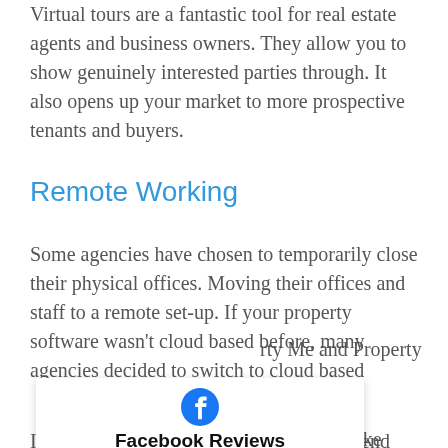Virtual tours are a fantastic tool for real estate agents and business owners. They allow you to show genuinely interested parties through. It also opens up your market to more prospective tenants and buyers.
Remote Working
Some agencies have chosen to temporarily close their physical offices. Moving their offices and staff to a remote set-up. If your property software wasn't cloud based before, many agencies decided to switch to cloud based …rty Me and Property
[Figure (infographic): Facebook Reviews widget showing the Facebook logo icon, title 'Facebook Reviews', a rating of 5.0 with five gold stars, and a link 'Read our 82 reviews']
…nge was the rise in …the use of software like Inspection Express which allows you to send